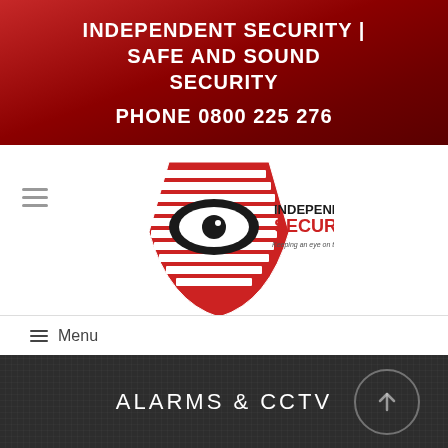INDEPENDENT SECURITY | SAFE AND SOUND SECURITY
PHONE 0800 225 276
[Figure (logo): Independent Security logo with shield shape containing horizontal bars in red and white, an eye in the center, text INDEPENDENT SECURITY and tagline Keeping an eye on things since 1969]
≡  Menu
ALARMS & CCTV